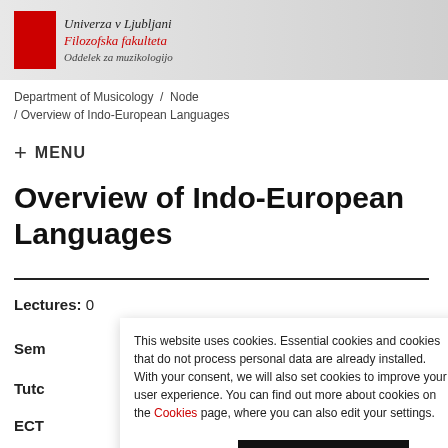[Figure (logo): Univerza v Ljubljani Filozofska fakulteta Oddelek za muzikologijo logo with red square and institutional text]
Department of Musicology / Node / Overview of Indo-European Languages
+ MENU
Overview of Indo-European Languages
Lectures: 0
Sem
Tutc
ECT
This website uses cookies. Essential cookies and cookies that do not process personal data are already installed. With your consent, we will also set cookies to improve your user experience. You can find out more about cookies on the Cookies page, where you can also edit your settings.
Change settings    Accept all and close